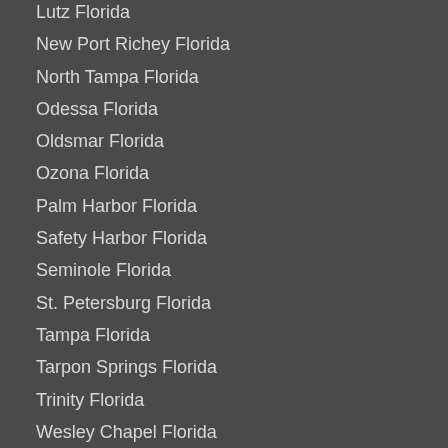Lutz Florida
New Port Richey Florida
North Tampa Florida
Odessa Florida
Oldsmar Florida
Ozona Florida
Palm Harbor Florida
Safety Harbor Florida
Seminole Florida
St. Petersburg Florida
Tampa Florida
Tarpon Springs Florida
Trinity Florida
Wesley Chapel Florida
Westchase Florida